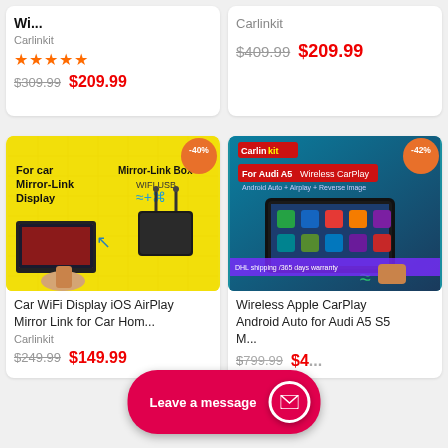Wi...
Carlinkit
[Figure (other): Five gold star rating]
$309.99  $209.99
Carlinkit
$409.99  $209.99
[Figure (photo): Product image showing For car Mirror-Link Display and Mirror-Link Box with WIFI USB, -40% badge, yellow background]
Car WiFi Display iOS AirPlay Mirror Link for Car Hom...
Carlinkit
$249.99  $149.99
[Figure (photo): Product image For Audi A5 Wireless CarPlay Android Auto + Airplay + Reverse image, -42% badge, teal/blue background]
Wireless Apple CarPlay Android Auto for Audi A5 S5 M...
$799.99  $4...
Leave a message